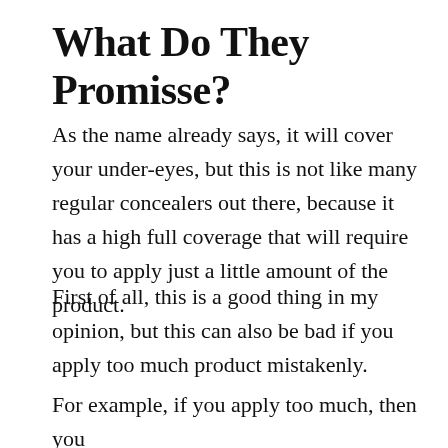What Do They Promisse?
As the name already says, it will cover your under-eyes, but this is not like many regular concealers out there, because it has a high full coverage that will require you to apply just a little amount of the product.
First of all, this is a good thing in my opinion, but this can also be bad if you apply too much product mistakenly.
For example, if you apply too much, then you might find that it will not give the natural...